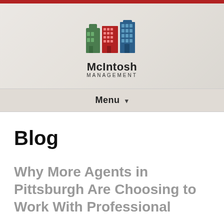[Figure (logo): McIntosh Management logo with colorful building icons (green, red, blue buildings) above the text 'McIntosh MANAGEMENT']
Menu ▾
Blog
Why More Agents in Pittsburgh Are Choosing to Work With Professional